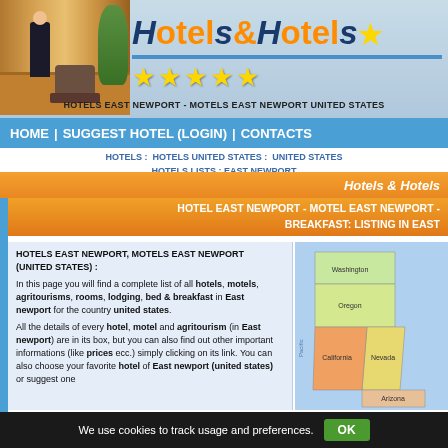[Figure (screenshot): Hotels & Hotels website header with hotel lobby photo, brand logo with stars, and navigation]
Hotels & Hotels
HOTELS EAST NEWPORT - MOTELS EAST NEWPORT UNITED STATES
HOME | SUGGEST HOTEL (LOGIN) | CONTACTS
HOTELS : HOTELS UNITED STATES : UNITED STATES HOTELS LISTS : EAST NEWPORT
Hotels & Hotels
HOTEL EAST NEWPORT - MOTEL EAST NEWPORT - BREAKFAST: LISTING IN EAST
HOTELS EAST NEWPORT, MOTELS EAST NEWPORT (UNITED STATES) : In this page you will find a complete list of all hotels, motels, agritourisms, rooms, lodging, bed & breakfast in East newport for the country united states. All the details of every hotel, motel and agritourism (in East newport) are in its box, but you can also find out other important informations (like prices ecc.) simply clicking on its link. You can also choose your favorite hotel of East newport (united states) or suggest one.
[Figure (map): Map of western United States showing states including Washington, Oregon, Nevada, California, and Arizona]
We use cookies to track usage and preferences.